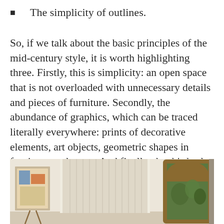The simplicity of outlines.
So, if we talk about the basic principles of the mid-century style, it is worth highlighting three. Firstly, this is simplicity: an open space that is not overloaded with unnecessary details and pieces of furniture. Secondly, the abundance of graphics, which can be traced literally everywhere: prints of decorative elements, art objects, geometric shapes in furniture, and so on. And finally, the third rule of mid-century: many objects are directly inspired by nature and natural forms, which can look very alluring and incredibly stylish.
[Figure (photo): Interior room photo showing a mid-century modern style room with a framed artwork on the left, a window with vertical blinds in the center, and an arched window with a wooden frame on the right showing greenery outside.]